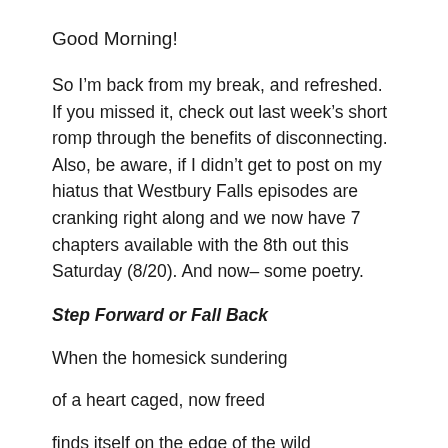Good Morning!
So I’m back from my break, and refreshed. If you missed it, check out last week’s short romp through the benefits of disconnecting. Also, be aware, if I didn’t get to post on my hiatus that Westbury Falls episodes are cranking right along and we now have 7 chapters available with the 8th out this Saturday (8/20). And now– some poetry.
Step Forward or Fall Back
When the homesick sundering
of a heart caged, now freed
finds itself on the edge of the wild